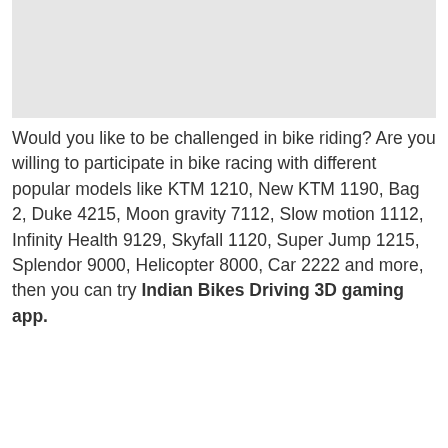[Figure (other): Gray image placeholder area at the top of the page]
Would you like to be challenged in bike riding? Are you willing to participate in bike racing with different popular models like KTM 1210, New KTM 1190, Bag 2, Duke 4215, Moon gravity 7112, Slow motion 1112, Infinity Health 9129, Skyfall 1120, Super Jump 1215, Splendor 9000, Helicopter 8000, Car 2222 and more, then you can try Indian Bikes Driving 3D gaming app.